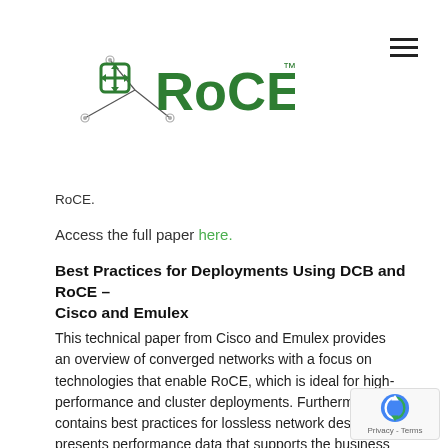[Figure (logo): RoCE logo with circular icon and green RoCE text with trademark symbol]
RoCE.
Access the full paper here.
Best Practices for Deployments Using DCB and RoCE – Cisco and Emulex
This technical paper from Cisco and Emulex provides an overview of converged networks with a focus on technologies that enable RoCE, which is ideal for high-performance and cluster deployments. Furthermore, it contains best practices for lossless network design and presents performance data that supports the business case to justify RoCE deployments. With 10GbE deployments and faster networks, data cen can realize the benefits of RDMA using a converged,